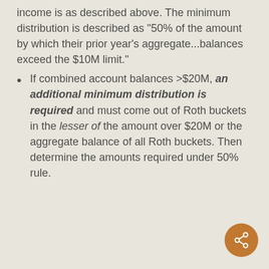income is as described above. The minimum distribution is described as "50% of the amount by which their prior year's aggregate...balances exceed the $10M limit."
If combined account balances >$20M, an additional minimum distribution is required and must come out of Roth buckets in the lesser of the amount over $20M or the aggregate balance of all Roth buckets. Then determine the amounts required under 50% rule.